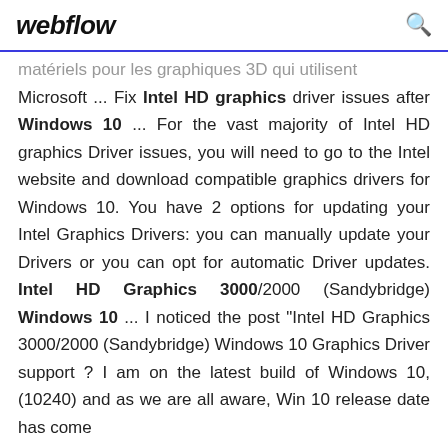webflow
matériels pour les graphiques 3D qui utilisent Microsoft ... Fix Intel HD graphics driver issues after Windows 10 ... For the vast majority of Intel HD graphics Driver issues, you will need to go to the Intel website and download compatible graphics drivers for Windows 10. You have 2 options for updating your Intel Graphics Drivers: you can manually update your Drivers or you can opt for automatic Driver updates. Intel HD Graphics 3000/2000 (Sandybridge) Windows 10 ... I noticed the post "Intel HD Graphics 3000/2000 (Sandybridge) Windows 10 Graphics Driver support ? I am on the latest build of Windows 10, (10240) and as we are all aware, Win 10 release date has come